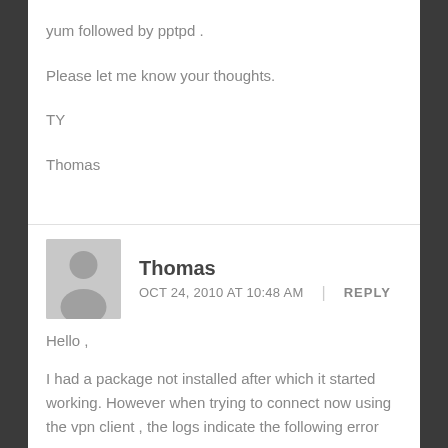yum followed by pptpd .
Please let me know your thoughts.
TY
Thomas
Thomas
OCT 24, 2010 AT 10:48 AM    REPLY
Hello ,
I had a package not installed after which it started working. However when trying to connect now using the vpn client , the logs indicate the following error